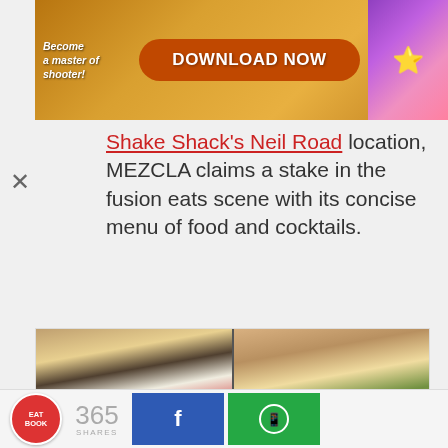[Figure (screenshot): Game advertisement banner: 'Become a master of shooter! DOWNLOAD NOW' with colorful game imagery on orange/gold background]
Shake Shack's Neil Road location, MEZCLA claims a stake in the fusion eats scene with its concise menu of food and cocktails.
[Figure (photo): Two sushi images side by side showing hands making sushi rolls, with overlay text '6-COURSE SUSHI ROLL AT $36++']
6-COURSE SUSHI ROLL AT $36++
Rappu Review: New Sushi Restaurant By The Feather Blade Serves A
365 SHARES